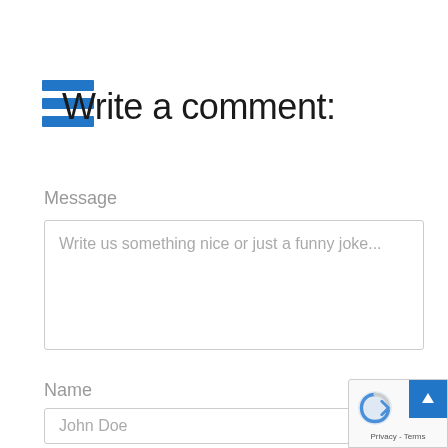[Figure (illustration): Blue hamburger menu icon with three horizontal bars]
Write a comment:
Message
Write us something nice or just a funny joke...
Name
John Doe
[Figure (illustration): Google reCAPTCHA badge with logo, upward arrow button, and Privacy - Terms links]